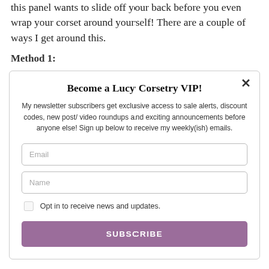this panel wants to slide off your back before you even wrap your corset around yourself! There are a couple of ways I get around this.
Method 1:
Become a Lucy Corsetry VIP!
My newsletter subscribers get exclusive access to sale alerts, discount codes, new post/ video roundups and exciting announcements before anyone else! Sign up below to receive my weekly(ish) emails.
Email
Name
Opt in to receive news and updates.
SUBSCRIBE